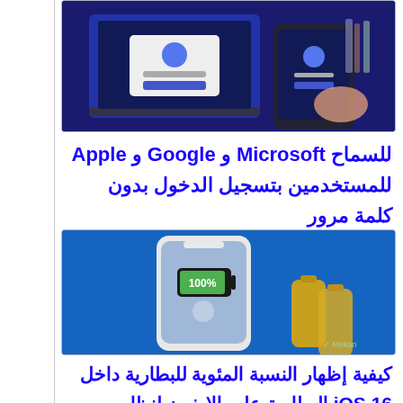[Figure (screenshot): Screenshot showing Microsoft/Google/Apple passwordless login concept with laptop and smartphone]
للسماح Microsoft و Google و Apple للمستخدمين بتسجيل الدخول بدون كلمة مرور
[Figure (screenshot): iPhone showing 100% battery with Apple logo and battery cells, iOS 16 battery percentage display]
كيفية إظهار النسبة المئوية للبطارية داخل iOS 16 البطارية على الايفون لنظام